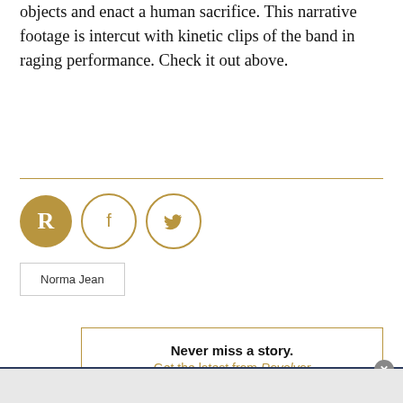objects and enact a human sacrifice. This narrative footage is intercut with kinetic clips of the band in raging performance. Check it out above.
[Figure (logo): Social sharing icons: Revolver R logo (filled gold circle), Facebook f icon (gold outline circle), Twitter bird icon (gold outline circle)]
Norma Jean
Never miss a story. Get the latest from Revolver